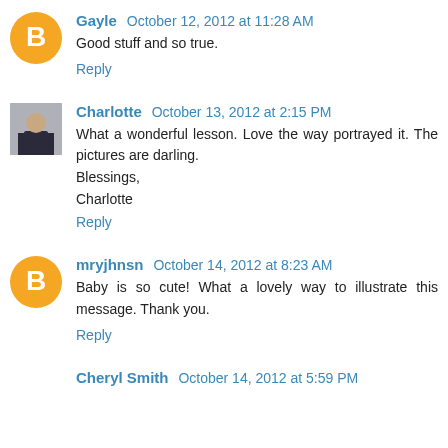Gayle October 12, 2012 at 11:28 AM
Good stuff and so true.
Reply
Charlotte October 13, 2012 at 2:15 PM
What a wonderful lesson. Love the way portrayed it. The pictures are darling.
Blessings,
Charlotte
Reply
mryjhnsn October 14, 2012 at 8:23 AM
Baby is so cute! What a lovely way to illustrate this message. Thank you.
Reply
Cheryl Smith October 14, 2012 at 5:59 PM